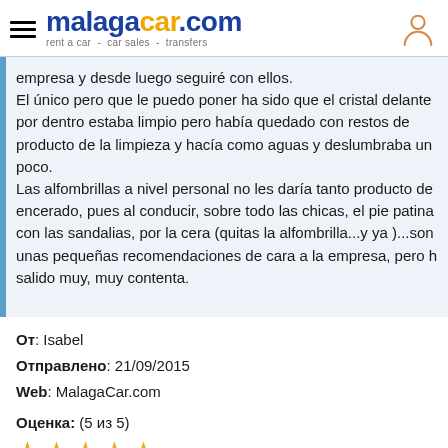malagacar.com rent a car - car sales - transfers
empresa y desde luego seguiré con ellos.
El único pero que le puedo poner ha sido que el cristal delante por dentro estaba limpio pero había quedado con restos de producto de la limpieza y hacía como aguas y deslumbraba un poco.
Las alfombrillas a nivel personal no les daría tanto producto de encerado, pues al conducir, sobre todo las chicas, el pie patina con las sandalias, por la cera (quitas la alfombrilla...y ya )...son unas pequeñas recomendaciones de cara a la empresa, pero h salido muy, muy contenta.
От: Isabel
Отправлено: 21/09/2015
Web: MalagaCar.com
Оценка: (5 из 5)